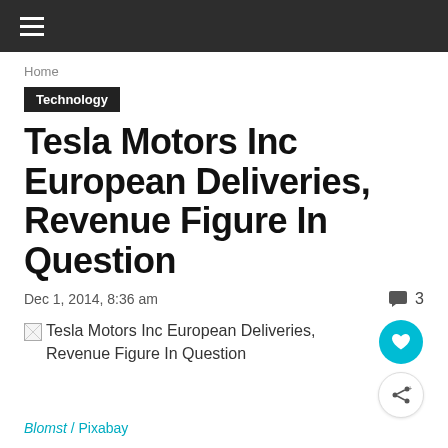≡
Home
Technology
Tesla Motors Inc European Deliveries, Revenue Figure In Question
Dec 1, 2014, 8:36 am   💬 3
[Figure (photo): Broken image placeholder with alt text: Tesla Motors Inc European Deliveries, Revenue Figure In Question]
Blomst / Pixabay
Tesla Motors Inc (NASDAQ:TSLA) delivery numbers are in question again, and this time it's